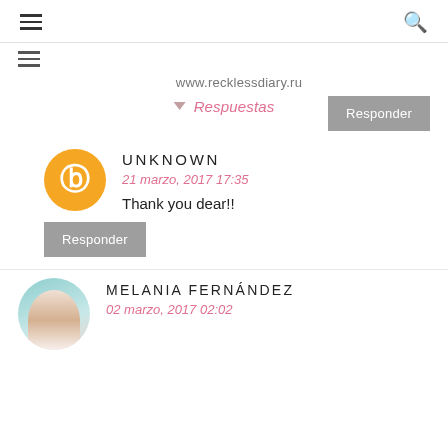☰ [menu icon] | 🔍 [search icon]
www.recklessdiary.ru
Responder
▼ Respuestas
[Figure (illustration): Orange circle Blogger avatar icon with white B letter]
UNKNOWN
21 marzo, 2017 17:35
Thank you dear!!
Responder
[Figure (photo): Circular profile photo of Melania Fernández, a woman with dark hair]
MELANIA FERNÁNDEZ
02 marzo, 2017 02:02